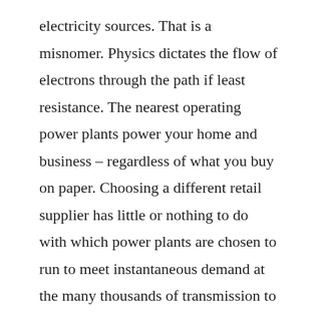electricity sources. That is a misnomer. Physics dictates the flow of electrons through the path if least resistance. The nearest operating power plants power your home and business – regardless of what you buy on paper. Choosing a different retail supplier has little or nothing to do with which power plants are chosen to run to meet instantaneous demand at the many thousands of transmission to distribution nodes across the country. So retail deregulation is not very important in the grand scheme of things – analogous to a business switching payroll companies. And as far as “free markets” for wholesale electricity – if you